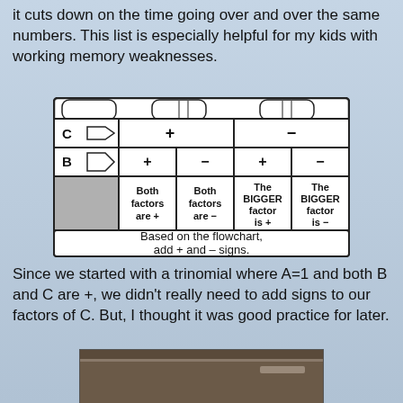it cuts down on the time going over and over the same numbers. This list is especially helpful for my kids with working memory weaknesses.
[Figure (flowchart): A factoring sign flowchart showing a grid with C row (+ and -) and B row (+ and -) columns, with cells: Both factors are +, Both factors are -, The BIGGER factor is +, The BIGGER factor is -. Caption: Based on the flowchart, add + and – signs.]
Since we started with a trinomial where A=1 and both B and C are +, we didn't really need to add signs to our factors of C. But, I thought it was good practice for later.
[Figure (photo): Partial photo of a physical worksheet or board at the bottom of the page.]